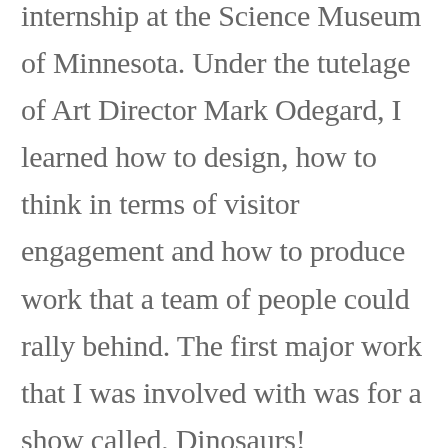internship at the Science Museum of Minnesota.  Under the tutelage of Art Director Mark Odegard, I learned how to design, how to think in terms of visitor engagement and how to produce work that a team of people could rally behind.  The first major work that I was involved with was for a show called, Dinosaurs!
Complete with animatronic dinos, fossils, complete skeletons and an array of interactive exhibits, the show became the largest the museum had ever put on.  We even sailed the Apatosaurus down the